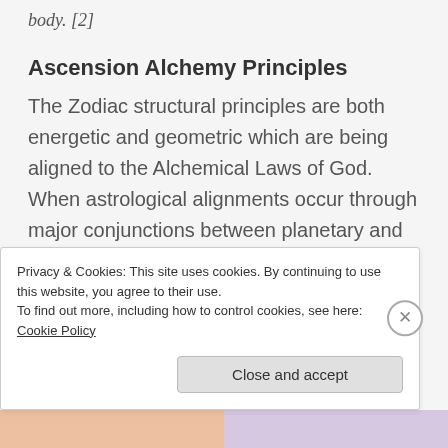body. [2]
Ascension Alchemy Principles
The Zodiac structural principles are both energetic and geometric which are being aligned to the Alchemical Laws of God. When astrological alignments occur through major conjunctions between planetary and stellar bodies, forces of alchemy occur which alter frequency current and manifest new creations. This new cosmic alignment
Privacy & Cookies: This site uses cookies. By continuing to use this website, you agree to their use.
To find out more, including how to control cookies, see here: Cookie Policy
Close and accept